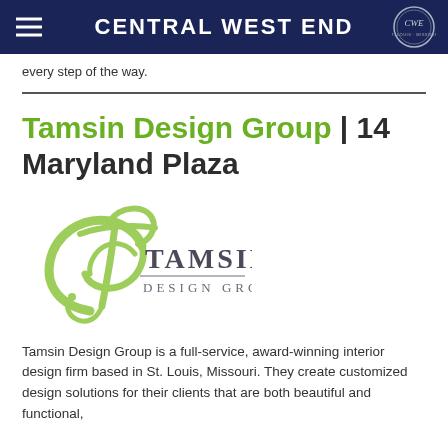CENTRAL WEST END
every step of the way.
Tamsin Design Group | 14 Maryland Plaza
[Figure (logo): Tamsin Design Group logo with decorative green T letterform and dark gray text reading TAMSIN DESIGN GROUP]
Tamsin Design Group is a full-service, award-winning interior design firm based in St. Louis, Missouri. They create customized design solutions for their clients that are both beautiful and functional,